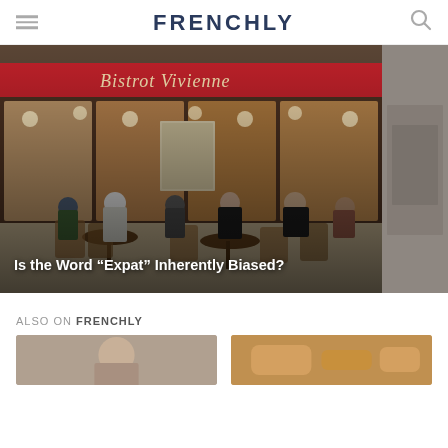FRENCHLY
[Figure (photo): Outdoor café scene at Bistrot Vivienne in Paris. People sitting at tables on the pavement, red awning reading 'Bistrot Vivienne' in cursive above wooden-framed windows with warm interior lighting. Multiple patrons visible, dressed casually.]
Is the Word “Expat” Inherently Biased?
[Figure (photo): Partially visible second image at far right edge, black and white or muted tone, appears to show an outdoor street scene.]
ALSO ON FRENCHLY
[Figure (photo): Thumbnail image on the left, partially visible person.]
[Figure (photo): Thumbnail image on the right, appears to show baked goods or pastry, warm orange-brown tones.]